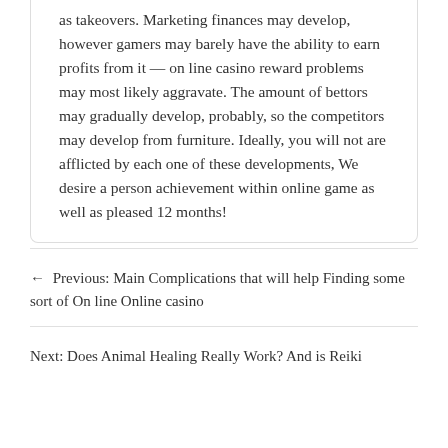as takeovers. Marketing finances may develop, however gamers may barely have the ability to earn profits from it — on line casino reward problems may most likely aggravate. The amount of bettors may gradually develop, probably, so the competitors may develop from furniture. Ideally, you will not are afflicted by each one of these developments, We desire a person achievement within online game as well as pleased 12 months!
← Previous: Main Complications that will help Finding some sort of On line Online casino
Next: Does Animal Healing Really Work? And is Reiki